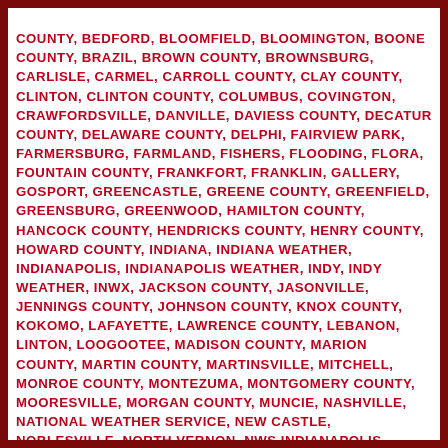COUNTY, BEDFORD, BLOOMFIELD, BLOOMINGTON, BOONE COUNTY, BRAZIL, BROWN COUNTY, BROWNSBURG, CARLISLE, CARMEL, CARROLL COUNTY, CLAY COUNTY, CLINTON, CLINTON COUNTY, COLUMBUS, COVINGTON, CRAWFORDSVILLE, DANVILLE, DAVIESS COUNTY, DECATUR COUNTY, DELAWARE COUNTY, DELPHI, FAIRVIEW PARK, FARMERSBURG, FARMLAND, FISHERS, FLOODING, FLORA, FOUNTAIN COUNTY, FRANKFORT, FRANKLIN, GALLERY, GOSPORT, GREENCASTLE, GREENE COUNTY, GREENFIELD, GREENSBURG, GREENWOOD, HAMILTON COUNTY, HANCOCK COUNTY, HENDRICKS COUNTY, HENRY COUNTY, HOWARD COUNTY, INDIANA, INDIANA WEATHER, INDIANAPOLIS, INDIANAPOLIS WEATHER, INDY, INDY WEATHER, INWX, JACKSON COUNTY, JASONVILLE, JENNINGS COUNTY, JOHNSON COUNTY, KNOX COUNTY, KOKOMO, LAFAYETTE, LAWRENCE COUNTY, LEBANON, LINTON, LOOGOOTEE, MADISON COUNTY, MARION COUNTY, MARTIN COUNTY, MARTINSVILLE, MITCHELL, MONROE COUNTY, MONTEZUMA, MONTGOMERY COUNTY, MOORESVILLE, MORGAN COUNTY, MUNCIE, NASHVILLE, NATIONAL WEATHER SERVICE, NEW CASTLE, NOBLESVILLE, NORTH VERNON, NWS INDIANAPOLIS, OWEN COUNTY, PARKE COUNTY, PARKER CITY, PLAINFIELD, PUTNAM COUNTY, RANDOLPH COUNTY, ROCKVILLE,